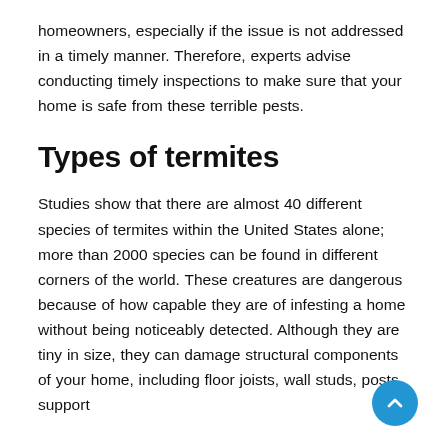homeowners, especially if the issue is not addressed in a timely manner. Therefore, experts advise conducting timely inspections to make sure that your home is safe from these terrible pests.
Types of termites
Studies show that there are almost 40 different species of termites within the United States alone; more than 2000 species can be found in different corners of the world. These creatures are dangerous because of how capable they are of infesting a home without being noticeably detected. Although they are tiny in size, they can damage structural components of your home, including floor joists, wall studs, posts, support